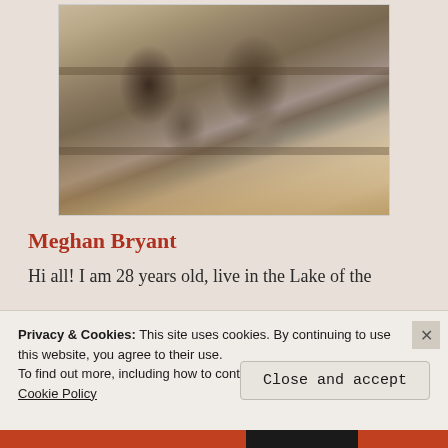[Figure (photo): Family photo of a woman, man, and two young boys standing in a forest/wooded area with pine trees and autumn foliage in the background.]
Meghan Bryant
Hi all! I am 28 years old, live in the Lake of the
Privacy & Cookies: This site uses cookies. By continuing to use this website, you agree to their use.
To find out more, including how to control cookies, see here: Cookie Policy
Close and accept